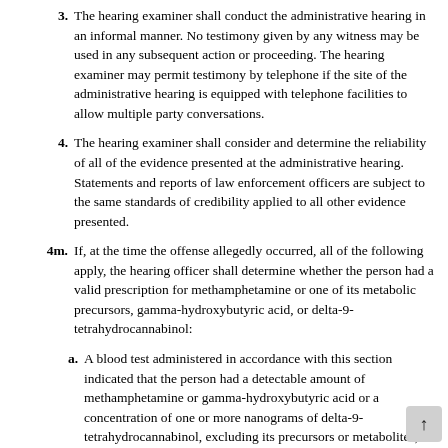3. The hearing examiner shall conduct the administrative hearing in an informal manner. No testimony given by any witness may be used in any subsequent action or proceeding. The hearing examiner may permit testimony by telephone if the site of the administrative hearing is equipped with telephone facilities to allow multiple party conversations.
4. The hearing examiner shall consider and determine the reliability of all of the evidence presented at the administrative hearing. Statements and reports of law enforcement officers are subject to the same standards of credibility applied to all other evidence presented.
4m. If, at the time the offense allegedly occurred, all of the following apply, the hearing officer shall determine whether the person had a valid prescription for methamphetamine or one of its metabolic precursors, gamma-hydroxybutyric acid, or delta-9-tetrahydrocannabinol:
a. A blood test administered in accordance with this section indicated that the person had a detectable amount of methamphetamine or gamma-hydroxybutyric acid or a concentration of one or more nanograms of delta-9-tetrahydrocannabinol, excluding its precursors or metabolites, per milliliter of the person's blood but not have a detectable amount of any other restricte